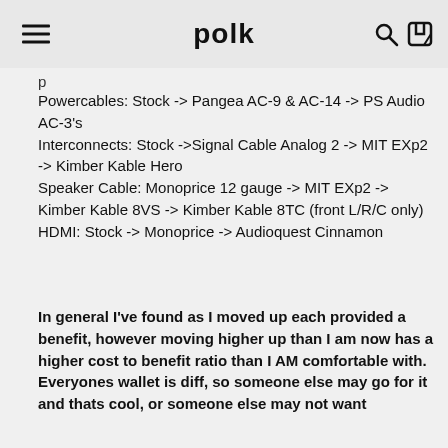polk
Powercables: Stock -> Pangea AC-9 & AC-14 -> PS Audio AC-3's
Interconnects: Stock ->Signal Cable Analog 2 -> MIT EXp2 -> Kimber Kable Hero
Speaker Cable: Monoprice 12 gauge -> MIT EXp2 -> Kimber Kable 8VS -> Kimber Kable 8TC (front L/R/C only)
HDMI: Stock -> Monoprice -> Audioquest Cinnamon
In general I've found as I moved up each provided a benefit, however moving higher up than I am now has a higher cost to benefit ratio than I AM comfortable with. Everyones wallet is diff, so someone else may go for it and thats cool, or someone else may not want